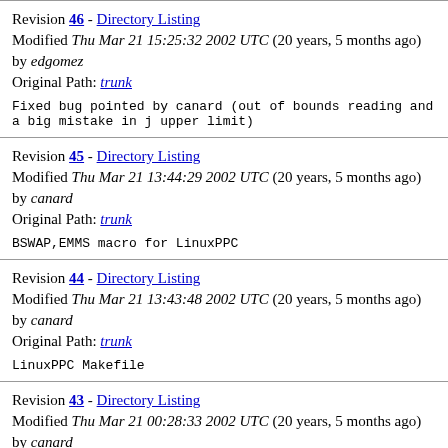Revision 46 - Directory Listing
Modified Thu Mar 21 15:25:32 2002 UTC (20 years, 5 months ago) by edgomez
Original Path: trunk
Fixed bug pointed by canard (out of bounds reading and a big mistake in j upper limit)
Revision 45 - Directory Listing
Modified Thu Mar 21 13:44:29 2002 UTC (20 years, 5 months ago) by canard
Original Path: trunk
BSWAP,EMMS macro for LinuxPPC
Revision 44 - Directory Listing
Modified Thu Mar 21 13:43:48 2002 UTC (20 years, 5 months ago) by canard
Original Path: trunk
LinuxPPC Makefile
Revision 43 - Directory Listing
Modified Thu Mar 21 00:28:33 2002 UTC (20 years, 5 months ago) by canard